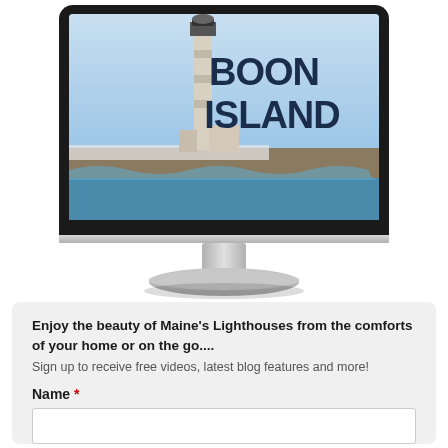[Figure (illustration): A desktop computer monitor mockup displaying an image of Boon Island lighthouse with ocean waves, blue sky, and bold dark blue text reading BOON ISLAND on the right side of the screen. The monitor has a black bezel, silver stand, and silver base.]
Enjoy the beauty of Maine's Lighthouses from the comforts of your home or on the go....
Sign up to receive free videos, latest blog features and more!
Name *